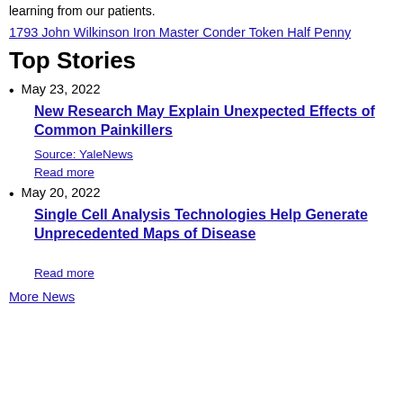learning from our patients.
1793 John Wilkinson Iron Master Conder Token Half Penny
Top Stories
May 23, 2022
New Research May Explain Unexpected Effects of Common Painkillers
Source: YaleNews
Read more
May 20, 2022
Single Cell Analysis Technologies Help Generate Unprecedented Maps of Disease
Read more
More News